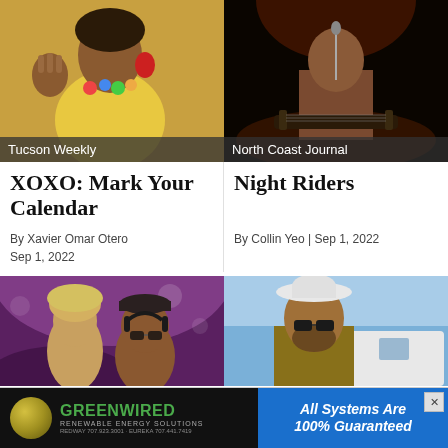[Figure (photo): Woman in colorful outfit with flower lei, waving, at a festival or event]
Tucson Weekly
[Figure (photo): Person playing steel guitar or similar instrument on stage with red/pink lighting]
North Coast Journal
XOXO: Mark Your Calendar
Night Riders
By Xavier Omar Otero
Sep 1, 2022
By Collin Yeo | Sep 1, 2022
[Figure (photo): Two people at what appears to be a music festival, woman with blonde hair and man with headphones and cap]
[Figure (photo): Man wearing white cowboy hat and sunglasses near a white vehicle, blue sky background]
[Figure (other): Greenwired Renewable Energy Solutions advertisement with gold logo and blue panel reading All Systems Are 100% Guaranteed]